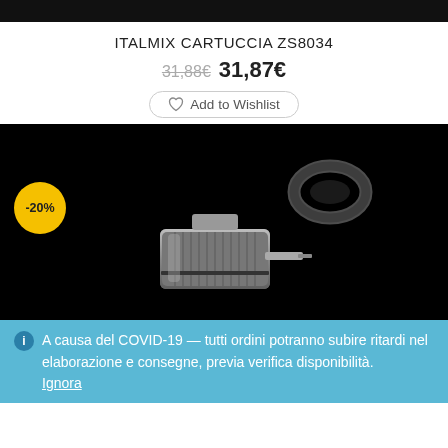[Figure (photo): Top dark banner/bar at the top of the page]
ITALMIX CARTUCCIA ZS8034
31,88€ 31,87€ (price with strikethrough on old price)
♡ Add to Wishlist
[Figure (photo): Product photo on black background showing a metallic cartridge/valve and a rubber O-ring, with a -20% yellow discount badge overlaid]
A causa del COVID-19 — tutti ordini potranno subire ritardi nel elaborazione e consegne, previa verifica disponibilità. Ignora